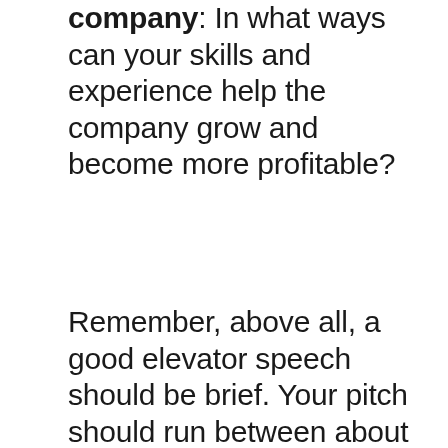company: In what ways can your skills and experience help the company grow and become more profitable?
Remember, above all, a good elevator speech should be brief. Your pitch should run between about 30 seconds and 1 minute. Anything shorter might give the impression that you don't have much experience, anything longer and you run the risk of boring the interviewer.